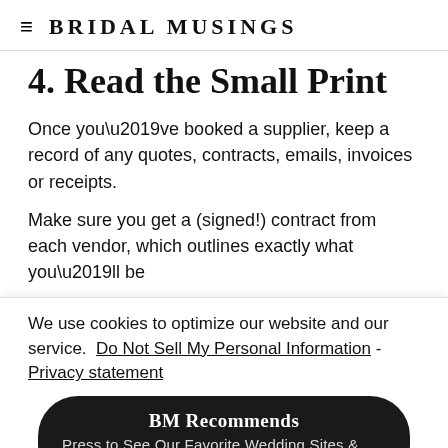≡  BRIDAL MUSINGS
4. Read the Small Print
Once you've booked a supplier, keep a record of any quotes, contracts, emails, invoices or receipts.
Make sure you get a (signed!) contract from each vendor, which outlines exactly what you'll be
We use cookies to optimize our website and our service.  Do Not Sell My Personal Information - Privacy statement
[Figure (other): BM Recommends pill button: 'BM Recommends' title with subtitle 'Press to See Our Favorite Wedding Sites & Shops']
it, like delivering a collection on the right d